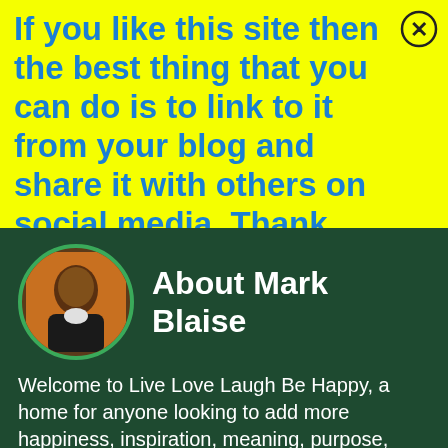If you like this site then the best thing that you can do is to link to it from your blog and share it with others on social media.  Thank You.
About Mark Blaise
Welcome to Live Love Laugh Be Happy, a home for anyone looking to add more happiness, inspiration, meaning, purpose, social value and personal growth to their